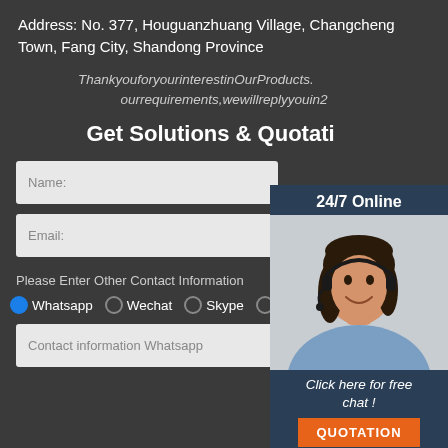Address: No. 377, Houguanzhuang Village, Changcheng Town, Fang City, Shandong Province
ThankyouforyourinterestinOurProducts. ourrequirements,wewillreplyyouin2
Get Solutions & Quotation
[Figure (photo): Customer service representative wearing a headset, smiling. Dark hair, blue/grey shirt. Panel showing 24/7 Online service, Click here for free chat!, and QUOTATION button.]
Name:
Email:
Please Enter Other Contact Information
Whatsapp
Wechat
Skype
Viber
Contact information Whatsapp